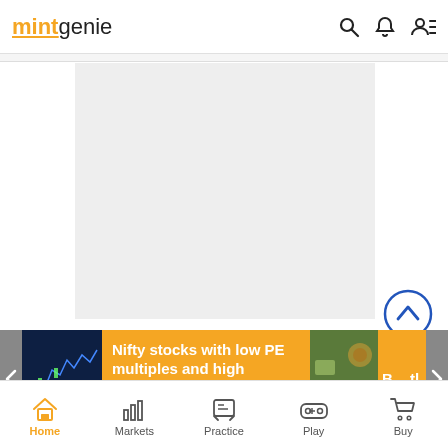mintgenie
[Figure (other): Gray advertisement placeholder rectangle]
[Figure (other): Circular scroll-to-top button with upward chevron]
Nifty stocks with low PE multiples and high Earnings per share: Check this list
Home   Markets   Practice   Play   Buy